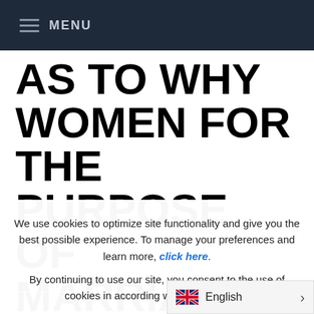MENU
AS TO WHY WOMEN FOR THE PURPOSE OF MARRIAGE ARE POPULAR IN THE US
We use cookies to optimize site functionality and give you the best possible experience. To manage your preferences and learn more, click here. By continuing to use our site, you consent to the use of cookies in according with our po
English